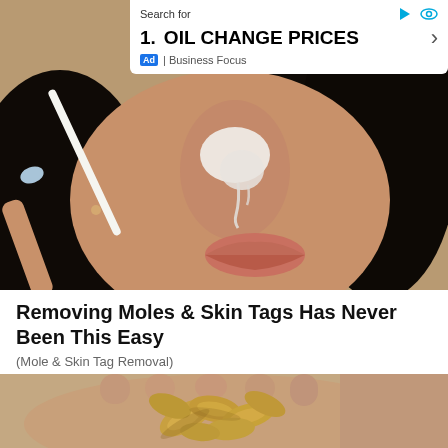[Figure (photo): Close-up photo of a woman with dark hair applying a white cream/paste to her nose and face area, with white substance visible on her skin.]
[Figure (other): Advertisement overlay: Search bar with 'Search for' label, item '1. OIL CHANGE PRICES' with chevron arrow, 'Ad | Business Focus' label below. Icons for play and eye visible.]
Removing Moles & Skin Tags Has Never Been This Easy
(Mole & Skin Tag Removal)
[Figure (photo): Close-up photo of a human hand holding a small pile of raw cashew nuts.]